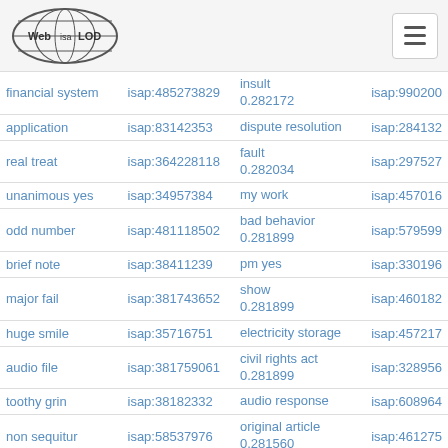Web isa LOD [logo] [hamburger menu]
| term | isap id | related term / score | isap id2 |
| --- | --- | --- | --- |
| financial system | isap:485273829 | insult
0.282172 | isap:990200 |
| application | isap:83142353 | dispute resolution | isap:284132 |
| real treat | isap:364228118 | fault
0.282034 | isap:297527 |
| unanimous yes | isap:34957384 | my work | isap:457016 |
| odd number | isap:481118502 | bad behavior
0.281899 | isap:579599 |
| brief note | isap:38411239 | pm yes | isap:330196 |
| major fail | isap:381743652 | show
0.281899 | isap:460182 |
| huge smile | isap:35716751 | electricity storage | isap:457217 |
| audio file | isap:381759061 | civil rights act
0.281899 | isap:328956 |
| toothy grin | isap:38182332 | audio response | isap:608964 |
| non sequitur | isap:58537976 | original article
0.281560 | isap:461275 |